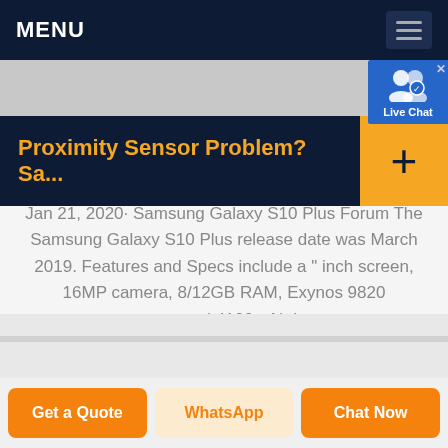MENU
[Figure (screenshot): Live Chat button overlay with user icon]
Proximity Sensor Problem? Sa...
Jan 21, 2020· Samsung Galaxy S10 Plus Forum The Samsung Galaxy S10 Plus release date was March 2019. Features and Specs include a " inch screen, 16MP camera, 8/12GB RAM, Exynos 9820 processor, and 4100mAh battery.
Get a Quote | WhatsApp | Chat Now